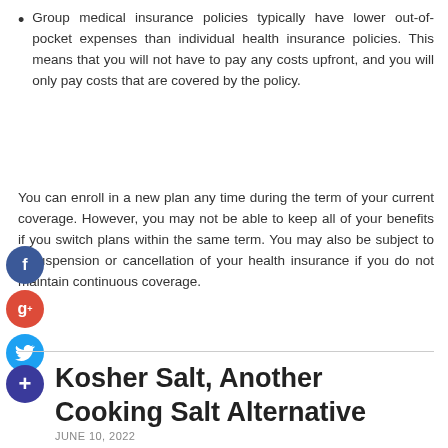Group medical insurance policies typically have lower out-of-pocket expenses than individual health insurance policies. This means that you will not have to pay any costs upfront, and you will only pay costs that are covered by the policy.
You can enroll in a new plan any time during the term of your current coverage. However, you may not be able to keep all of your benefits if you switch plans within the same term. You may also be subject to a suspension or cancellation of your health insurance if you do not maintain continuous coverage.
Kosher Salt, Another Cooking Salt Alternative
JUNE 10, 2022